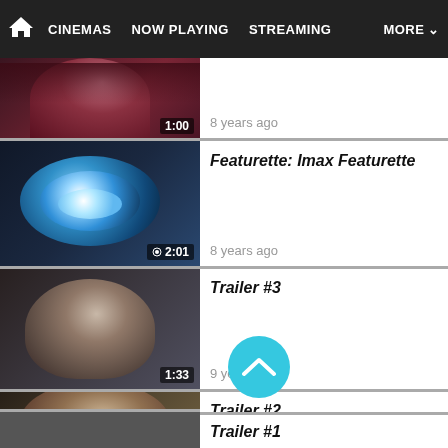CINEMAS  NOW PLAYING  STREAMING  MORE
[Figure (screenshot): Thumbnail for TV Spot video with duration badge 1:00]
8 years ago
[Figure (screenshot): Thumbnail for Featurette: Imax Featurette with camera lens and blue light, duration badge 2:01]
Featurette: Imax Featurette
8 years ago
[Figure (screenshot): Thumbnail for Trailer #3 with close-up of woman's face, duration badge 1:33]
Trailer #3
9 years ago
[Figure (screenshot): Thumbnail for Trailer #2 with close-up of young man's face, duration badge 2:26]
Trailer #2
9 years ago
Trailer #1